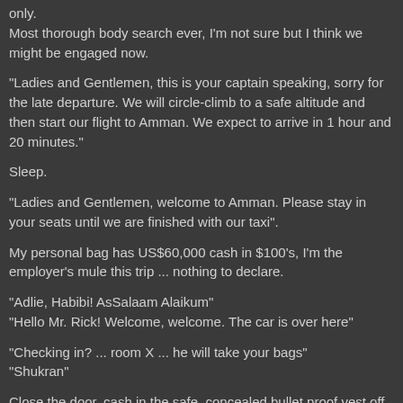only.
Most thorough body search ever, I'm not sure but I think we might be engaged now.
"Ladies and Gentlemen, this is your captain speaking, sorry for the late departure. We will circle-climb to a safe altitude and then start our flight to Amman. We expect to arrive in 1 hour and 20 minutes."
Sleep.
"Ladies and Gentlemen, welcome to Amman. Please stay in your seats until we are finished with our taxi".
My personal bag has US$60,000 cash in $100's, I'm the employer's mule this trip ... nothing to declare.
"Adlie, Habibi! AsSalaam Alaikum"
"Hello Mr. Rick! Welcome, welcome. The car is over here"
"Checking in? ... room X ... he will take your bags"
"Shukran"
Close the door, cash in the safe, concealed bullet proof vest off for the last time ... possibly ever. Shower. Food. Gym.
It's not home, but it's a world away from where I was. The